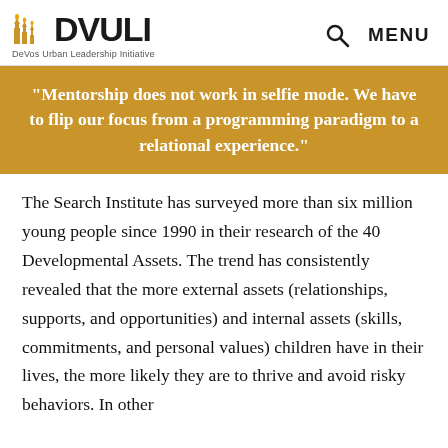DVULI – DeVos Urban Leadership Initiative
"Mentorship does not work in selfie mode. We have to flip our focus from a programming paradigm to a relational experience."
The Search Institute has surveyed more than six million young people since 1990 in their research of the 40 Developmental Assets. The trend has consistently revealed that the more external assets (relationships, supports, and opportunities) and internal assets (skills, commitments, and personal values) children have in their lives, the more likely they are to thrive and avoid risky behaviors. In other